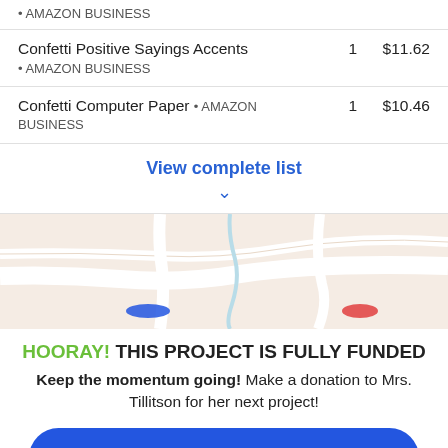AMAZON BUSINESS
Confetti Positive Sayings Accents • AMAZON BUSINESS  1  $11.62
Confetti Computer Paper • AMAZON BUSINESS  1  $10.46
View complete list
[Figure (map): Street map showing area with roads, a blue marker and a red marker visible]
HOORAY! THIS PROJECT IS FULLY FUNDED
Keep the momentum going! Make a donation to Mrs. Tillitson for her next project!
Help Mrs. Tillitson